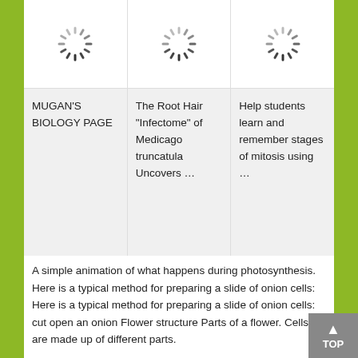[Figure (illustration): Loading spinner icon (circular dashed loader) in card 1]
[Figure (illustration): Loading spinner icon (circular dashed loader) in card 2]
[Figure (illustration): Loading spinner icon (circular dashed loader) in card 3]
MUGAN'S BIOLOGY PAGE
The Root Hair "Infectome" of Medicago truncatula Uncovers …
Help students learn and remember stages of mitosis using …
A simple animation of what happens during photosynthesis. Here is a typical method for preparing a slide of onion cells: Here is a typical method for preparing a slide of onion cells: cut open an onion Flower structure Parts of a flower. Cells are made up of different parts.
One of the most problematic duties that wellbeing and fitness experts face throughout their interaction with patients helps